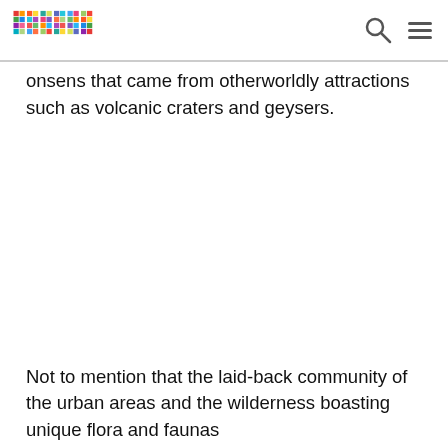primer
onsens that came from otherworldly attractions such as volcanic craters and geysers.
Not to mention that the laid-back community of the urban areas and the wilderness boasting unique flora and faunas